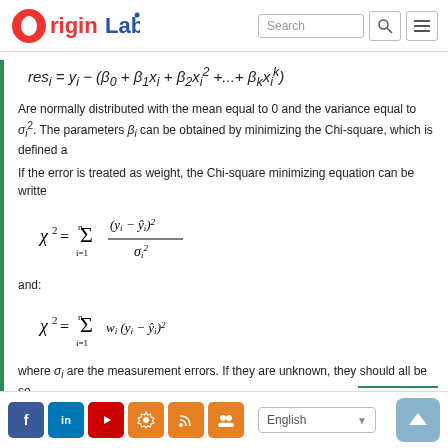OriginLab [logo] Search
Are normally distributed with the mean equal to 0 and the variance equal to σ_i². The parameters β_i can be obtained by minimizing the Chi-square, which is defined a...
If the error is treated as weight, the Chi-square minimizing equation can be writte...
and:
where σ_i are the measurement errors. If they are unknown, they should all be se...
Coefficient estimation by matrix calculation:
Social icons | English | Up button